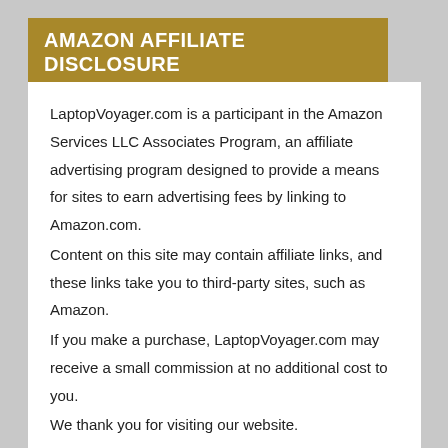AMAZON AFFILIATE DISCLOSURE
LaptopVoyager.com is a participant in the Amazon Services LLC Associates Program, an affiliate advertising program designed to provide a means for sites to earn advertising fees by linking to Amazon.com.
Content on this site may contain affiliate links, and these links take you to third-party sites, such as Amazon.
If you make a purchase, LaptopVoyager.com may receive a small commission at no additional cost to you.
We thank you for visiting our website.